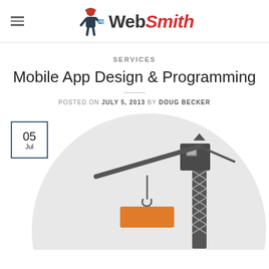WebSmith
SERVICES
Mobile App Design & Programming
POSTED ON JULY 5, 2013 BY DOUG BECKER
[Figure (illustration): Construction crane illustration inside a light gray circle, with an orange container being lifted and a lattice tower structure. A date badge in the top-left corner shows '05 Jul'.]